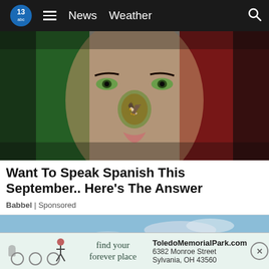13abc | News  Weather
[Figure (photo): Close-up of a woman's face painted with the Mexican flag colors (green, white, red stripes) and the Mexican coat of arms emblem in the center, against a black background.]
Want To Speak Spanish This September.. Here's The Answer
Babbel | Sponsored
[Figure (photo): Outdoor scenic photo with blue sky and trees, partially visible. A cemetery/memorial park advertisement banner overlays the bottom.]
find your forever place  ToledoMemorialPark.com  6382 Monroe Street  Sylvania, OH 43560